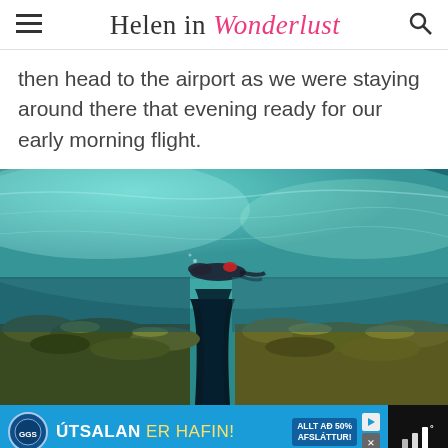Helen in Wonderlust
then head to the airport as we were staying around there that evening ready for our early morning flight.
[Figure (photo): Underwater photograph showing a snorkeler or diver swimming through a clear-water rocky fissure, with teal and green hues and rocky bottom visible]
[Figure (other): Advertisement banner for GG Sport: ÚTSALAN ER HAFIN! (Sale has begun!) in blue with logo, badge saying ALLT AÐ 50% AFSLÁTTUR!, play/close buttons]